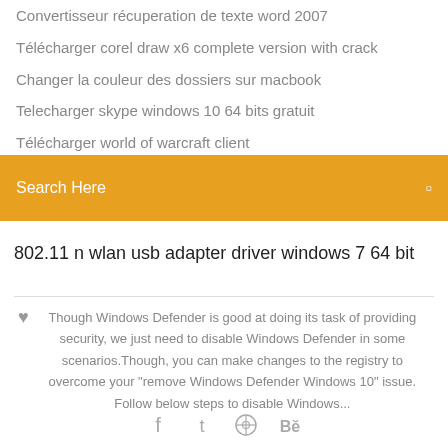Convertisseur récuperation de texte word 2007
Télécharger corel draw x6 complete version with crack
Changer la couleur des dossiers sur macbook
Telecharger skype windows 10 64 bits gratuit
Télécharger world of warcraft client
Télécharger itunes for windows 7 32 bit latest version
Iso windows 7 professional 64 bits sp1
Search Here
802.11 n wlan usb adapter driver windows 7 64 bit
Though Windows Defender is good at doing its task of providing security, we just need to disable Windows Defender in some scenarios.Though, you can make changes to the registry to overcome your "remove Windows Defender Windows 10" issue. Follow below steps to disable Windows...
[Figure (other): Social media icons: Facebook, Twitter, dribbble/asterisk, Behance]